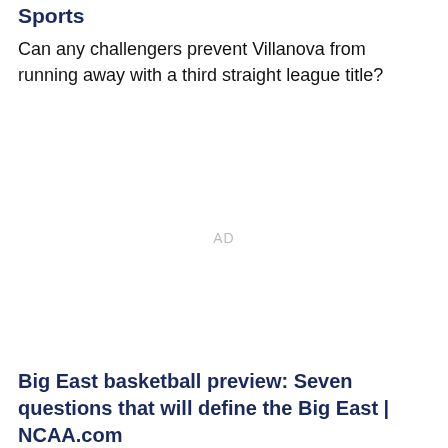Sports
Can any challengers prevent Villanova from running away with a third straight league title?
AD
Big East basketball preview: Seven questions that will define the Big East | NCAA.com